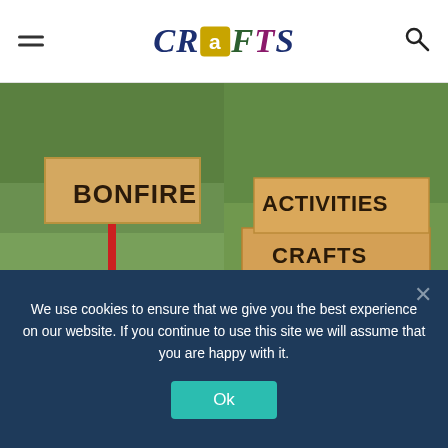CRAFTS
[Figure (photo): Cardboard sign on a red stake in green grass reading BONFIRE in large handwritten letters]
[Figure (photo): Two stacked cardboard signs in green grass reading ACTIVITIES CRAFTS in large handwritten letters]
[Figure (photo): Looking up at tall evergreen trees against a cloudy sky, with the corner of a cardboard sign visible reading CAMP]
We use cookies to ensure that we give you the best experience on our website. If you continue to use this site we will assume that you are happy with it.